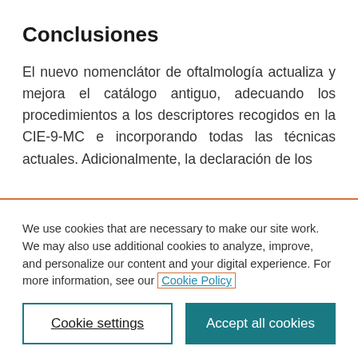Conclusiones
El nuevo nomenclátor de oftalmología actualiza y mejora el catálogo antiguo, adecuando los procedimientos a los descriptores recogidos en la CIE-9-MC e incorporando todas las técnicas actuales. Adicionalmente, la declaración de los
We use cookies that are necessary to make our site work. We may also use additional cookies to analyze, improve, and personalize our content and your digital experience. For more information, see our Cookie Policy
Cookie settings
Accept all cookies